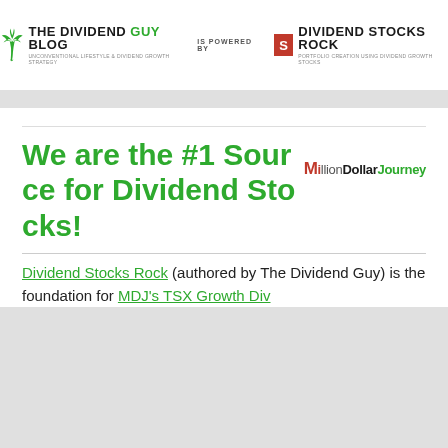[Figure (logo): The Dividend Guy Blog logo with palm tree icon, powered by Dividend Stocks Rock logo with red S icon]
We are the #1 Source for Dividend Stocks!
[Figure (logo): MillionDollarJourney logo]
Dividend Stocks Rock (authored by The Dividend Guy) is the foundation for MDJ's TSX Growth Div